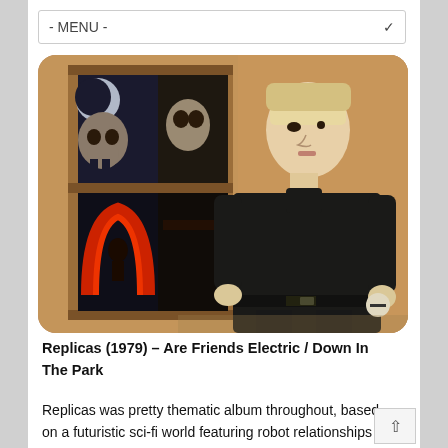- MENU -
[Figure (photo): Album cover for Replicas (1979) showing a mannequin-like figure with pale blonde hair dressed in black, standing in front of a wooden window frame with two panes showing dark atmospheric artwork including a skull and crescent moon in the top pane and a red arch design in the bottom pane.]
Replicas (1979) – Are Friends Electric / Down In The Park
Replicas was pretty thematic album throughout, based on a futuristic sci-fi world featuring robot relationships